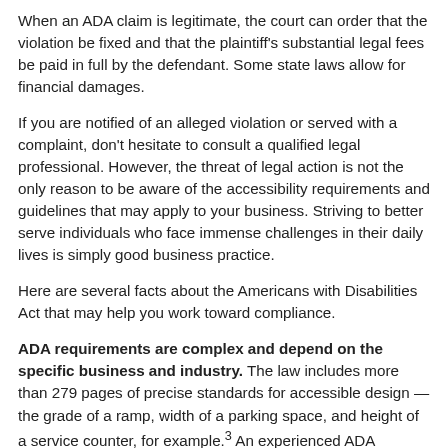When an ADA claim is legitimate, the court can order that the violation be fixed and that the plaintiff's substantial legal fees be paid in full by the defendant. Some state laws allow for financial damages.
If you are notified of an alleged violation or served with a complaint, don't hesitate to consult a qualified legal professional. However, the threat of legal action is not the only reason to be aware of the accessibility requirements and guidelines that may apply to your business. Striving to better serve individuals who face immense challenges in their daily lives is simply good business practice.
Here are several facts about the Americans with Disabilities Act that may help you work toward compliance.
ADA requirements are complex and depend on the specific business and industry. The law includes more than 279 pages of precise standards for accessible design — the grade of a ramp, width of a parking space, and height of a service counter, for example.³ An experienced ADA inspector testified...